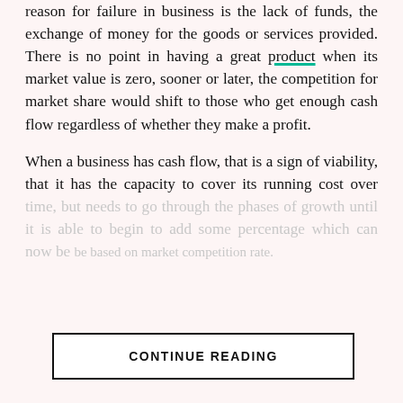reason for failure in business is the lack of funds, the exchange of money for the goods or services provided. There is no point in having a great product when its market value is zero, sooner or later, the competition for market share would shift to those who get enough cash flow regardless of whether they make a profit.
When a business has cash flow, that is a sign of viability, that it has the capacity to cover its running cost over time, but needs to go through the phases of growth until it is able to begin to add some percentage which can now be...
CONTINUE READING
[Figure (illustration): Orange 3D geometric/abstract shapes resembling building blocks or structures, with a GTCO logo (orange square with white square and GTCO text) in the bottom right area]